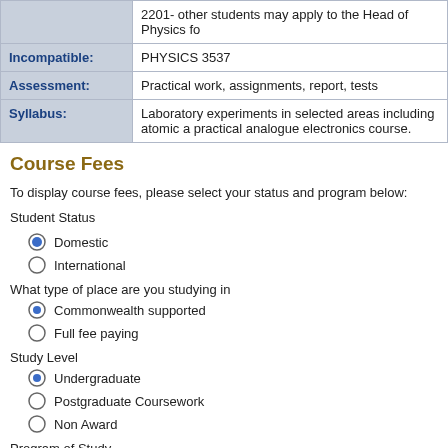|  |  |
| --- | --- |
|  | 2201- other students may apply to the Head of Physics fo |
| Incompatible: | PHYSICS 3537 |
| Assessment: | Practical work, assignments, report, tests |
| Syllabus: | Laboratory experiments in selected areas including atomic a practical analogue electronics course. |
Course Fees
To display course fees, please select your status and program below:
Student Status
Domestic
International
What type of place are you studying in
Commonwealth supported
Full fee paying
Study Level
Undergraduate
Postgraduate Coursework
Non Award
Program of Study
-- Please select --